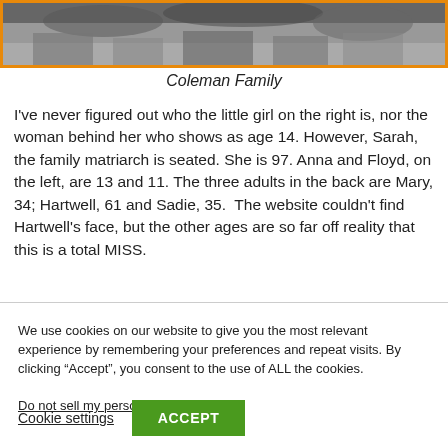[Figure (photo): Black and white photograph of the Coleman family, shown in a frame with an orange border.]
Coleman Family
I've never figured out who the little girl on the right is, nor the woman behind her who shows as age 14. However, Sarah, the family matriarch is seated. She is 97. Anna and Floyd, on the left, are 13 and 11. The three adults in the back are Mary, 34; Hartwell, 61 and Sadie, 35.  The website couldn't find Hartwell's face, but the other ages are so far off reality that this is a total MISS.
We use cookies on our website to give you the most relevant experience by remembering your preferences and repeat visits. By clicking “Accept”, you consent to the use of ALL the cookies.
Do not sell my personal information.
Cookie settings
ACCEPT